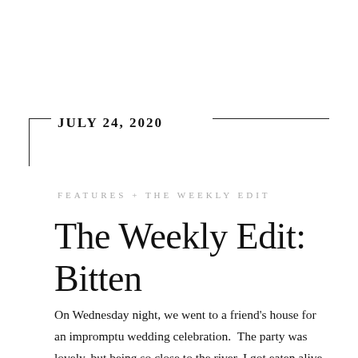JULY 24, 2020
FEATURES + THE WEEKLY EDIT
The Weekly Edit: Bitten
On Wednesday night, we went to a friend's house for an impromptu wedding celebration.  The party was lovely, but being so close to the river, I got eaten alive by mosquitos. I never used to care about those little